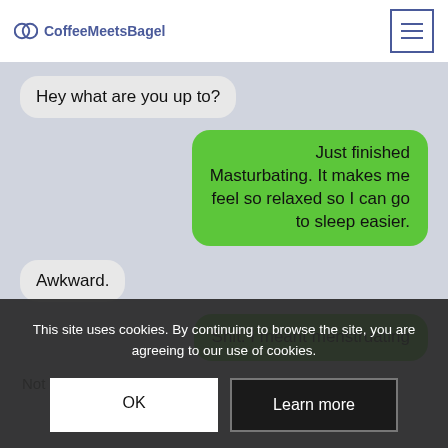CoffeeMeetsBagel
[Figure (screenshot): iOS text message conversation screenshot showing humorous autocorrect mishap. Messages: 'Hey what are you up to?' (received), 'Just finished Masturbating. It makes me feel so relaxed so I can go to sleep easier.' (sent, green), 'Awkward.' (received), 'Shit. I meant menstruating' (sent, green), 'Not any less awkward.' partially visible.]
This site uses cookies. By continuing to browse the site, you are agreeing to our use of cookies.
OK
Learn more